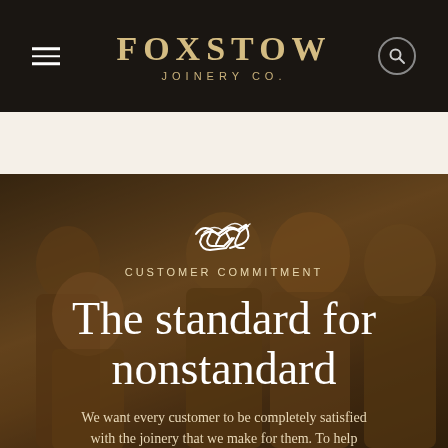Foxstow Joinery Co.
[Figure (photo): Group photo of five Foxstow Joinery Co. team members in branded polo shirts, rendered in sepia tone, standing outdoors in front of a dark background with foliage.]
CUSTOMER COMMITMENT
The standard for nonstandard
We want every customer to be completely satisfied with the joinery that we make for them. To help